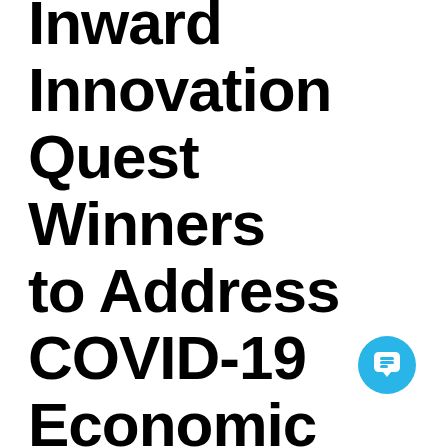Inward Innovation Quest Winners to Address COVID-19 Economic Challenges
[Figure (illustration): Blue circular chat/message icon button in bottom-right area]